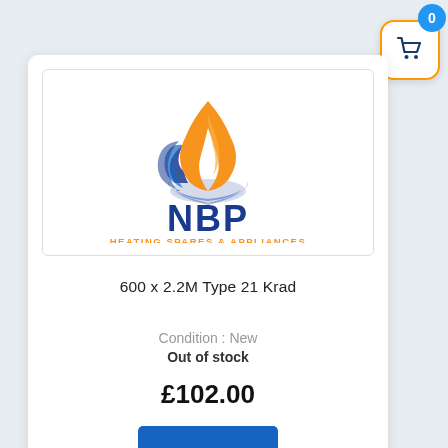[Figure (logo): NBP Heating Spares & Appliances logo — flame icon in orange and blue above bold dark blue 'NBP' text and orange 'HEATING SPARES & APPLIANCES' tagline]
600 x 2.2M Type 21 Krad
Condition : New
Out of stock
£102.00